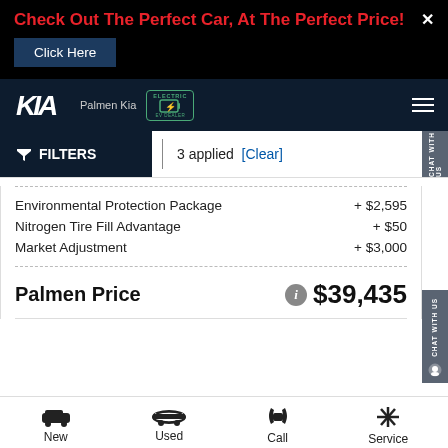Check Out The Perfect Car, At The Perfect Price!
Click Here
[Figure (logo): Kia logo with Palmen Kia text and EV Dealer badge]
FILTERS | 3 applied [Clear]
Environmental Protection Package  + $2,595
Nitrogen Tire Fill Advantage  + $50
Market Adjustment  + $3,000
Palmen Price  $39,435
New | Used | Call | Service